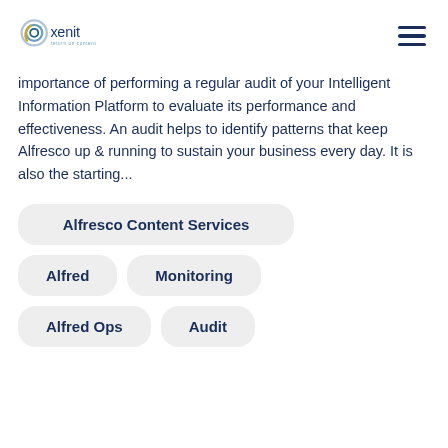xenit — return on content
importance of performing a regular audit of your Intelligent Information Platform to evaluate its performance and effectiveness. An audit helps to identify patterns that keep Alfresco up & running to sustain your business every day. It is also the starting...
Alfresco Content Services
Alfred
Monitoring
Alfred Ops
Audit